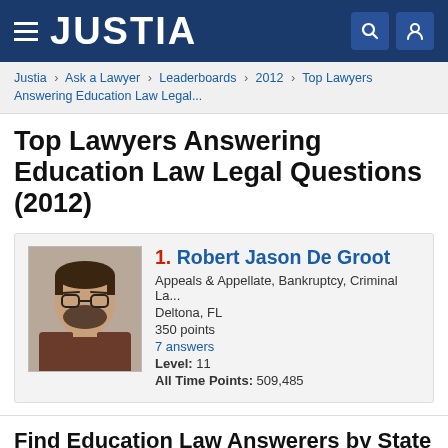JUSTIA
Justia > Ask a Lawyer > Leaderboards > 2012 > Top Lawyers Answering Education Law Legal...
Top Lawyers Answering Education Law Legal Questions (2012)
1. Robert Jason De Groot
Appeals & Appellate, Bankruptcy, Criminal La...
Deltona, FL
350 points
7 answers
Level: 11
All Time Points: 509,485
Find Education Law Answerers by State